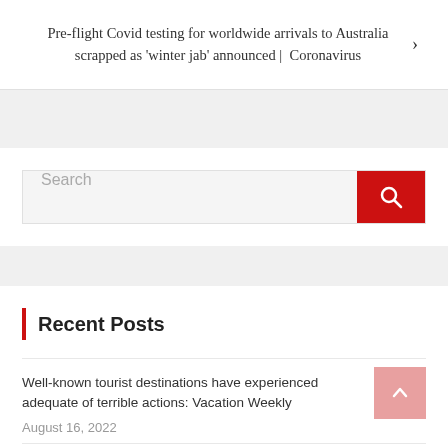Pre-flight Covid testing for worldwide arrivals to Australia scrapped as 'winter jab' announced | Coronavirus
[Figure (screenshot): Search bar with red search button containing magnifying glass icon]
Recent Posts
Well-known tourist destinations have experienced adequate of terrible actions: Vacation Weekly
August 16, 2022
Japan is open to journey. So why aren't holidaymakers coming back?